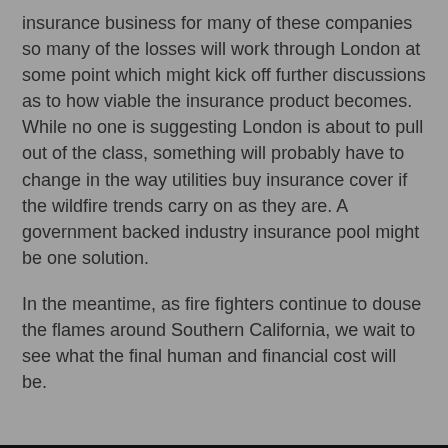insurance business for many of these companies so many of the losses will work through London at some point which might kick off further discussions as to how viable the insurance product becomes. While no one is suggesting London is about to pull out of the class, something will probably have to change in the way utilities buy insurance cover if the wildfire trends carry on as they are. A government backed industry insurance pool might be one solution.
In the meantime, as fire fighters continue to douse the flames around Southern California, we wait to see what the final human and financial cost will be.
We use our own and third-party cookies to improve our services, remember your preferences and analyse our traffic. If you click on the accept button, we understand that you accept the use of cookies on our website. For more information visit our cookie policy